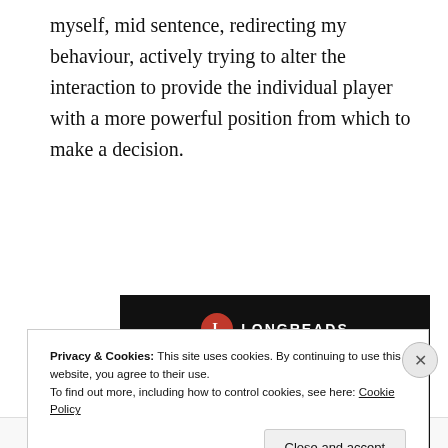myself, mid sentence, redirecting my behaviour, actively trying to alter the interaction to provide the individual player with a more powerful position from which to make a decision.
[Figure (screenshot): Longreads advertisement banner with black background, red circular logo with 'L', text 'LONGREADS', headline 'Read anything great lately?' and a red 'Start reading' button.]
Privacy & Cookies: This site uses cookies. By continuing to use this website, you agree to their use.
To find out more, including how to control cookies, see here: Cookie Policy
Close and accept